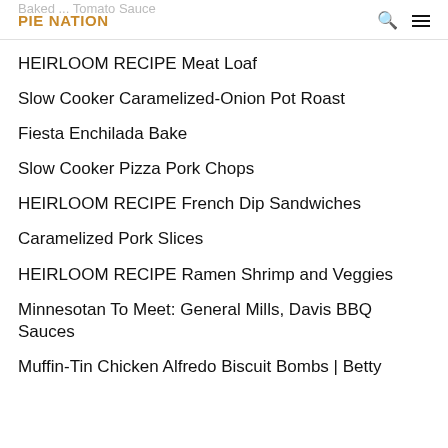PIE NATION
HEIRLOOM RECIPE Meat Loaf
Slow Cooker Caramelized-Onion Pot Roast
Fiesta Enchilada Bake
Slow Cooker Pizza Pork Chops
HEIRLOOM RECIPE French Dip Sandwiches
Caramelized Pork Slices
HEIRLOOM RECIPE Ramen Shrimp and Veggies
Minnesotan To Meet: General Mills, Davis BBQ Sauces
Muffin-Tin Chicken Alfredo Biscuit Bombs | Betty